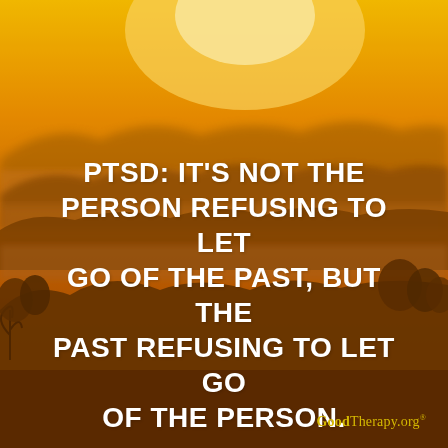[Figure (illustration): Golden sunrise over misty mountain landscape with rolling hills and fog-filled valleys, warm amber and orange tones throughout]
PTSD: IT'S NOT THE PERSON REFUSING TO LET GO OF THE PAST, BUT THE PAST REFUSING TO LET GO OF THE PERSON.
GoodTherapy.org